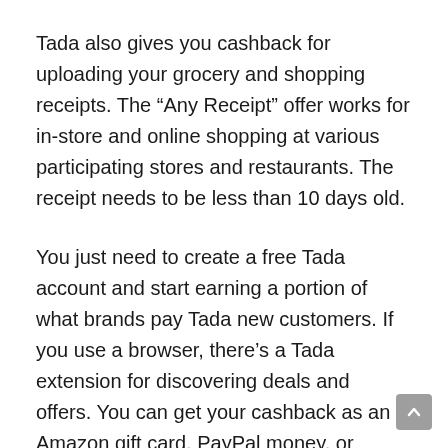Tada also gives you cashback for uploading your grocery and shopping receipts. The “Any Receipt” offer works for in-store and online shopping at various participating stores and restaurants. The receipt needs to be less than 10 days old.
You just need to create a free Tada account and start earning a portion of what brands pay Tada new customers. If you use a browser, there’s a Tada extension for discovering deals and offers. You can get your cashback as an Amazon gift card, PayPal money, or check.